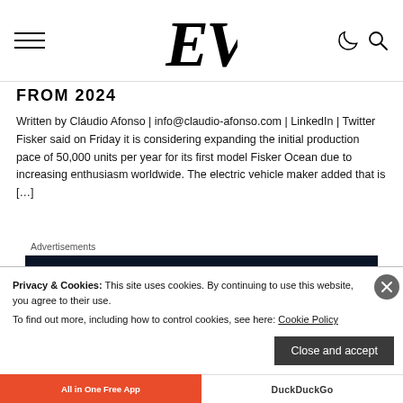EV (logo), hamburger menu, dark mode and search icons
FROM 2024
Written by Cláudio Afonso | info@claudio-afonso.com | LinkedIn | Twitter Fisker said on Friday it is considering expanding the initial production pace of 50,000 units per year for its first model Fisker Ocean due to increasing enthusiasm worldwide. The electric vehicle maker added that is […]
Advertisements
[Figure (illustration): Dark navy advertisement for a product/service showing a small square logo with the number 2, and the tagline 'Fewer meetings,' in large bold white text on dark background.]
Privacy & Cookies: This site uses cookies. By continuing to use this website, you agree to their use.
To find out more, including how to control cookies, see here: Cookie Policy
Close and accept
All in One Free App | DuckDuckGo